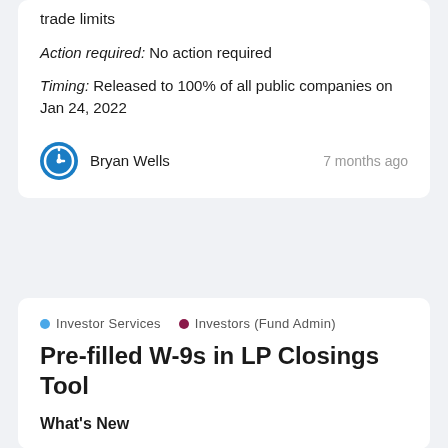trade limits
Action required: No action required
Timing: Released to 100% of all public companies on Jan 24, 2022
Bryan Wells   7 months ago
Investor Services   Investors (Fund Admin)
Pre-filled W-9s in LP Closings Tool
What's New